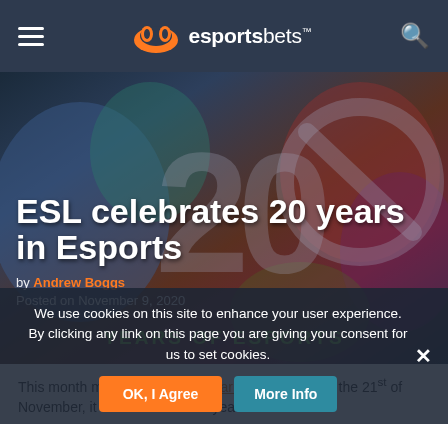esportsbets
[Figure (screenshot): ESL 20 years in Esports hero image with colorful gaming artwork background, large '20' watermark, circle-slash ESL logo, and green 'YEARS OF ESPORTS' text at bottom]
ESL celebrates 20 years in Esports
by Andrew Boggs
Posted on November 9, 2020
We use cookies on this site to enhance your user experience. By clicking any link on this page you are giving your consent for us to set cookies.
This month marks the ESL 20 year anniversary. On the 21st of November, it will have been 20 years of